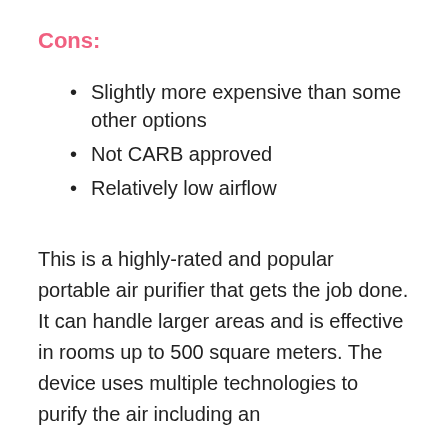Cons:
Slightly more expensive than some other options
Not CARB approved
Relatively low airflow
This is a highly-rated and popular portable air purifier that gets the job done. It can handle larger areas and is effective in rooms up to 500 square meters. The device uses multiple technologies to purify the air including an